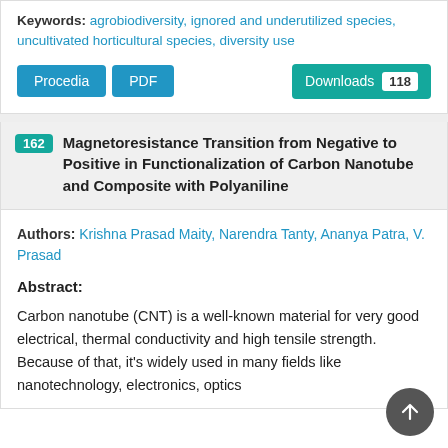Keywords: agrobiodiversity, ignored and underutilized species, uncultivated horticultural species, diversity use
Procedia | PDF | Downloads 118
162 Magnetoresistance Transition from Negative to Positive in Functionalization of Carbon Nanotube and Composite with Polyaniline
Authors: Krishna Prasad Maity, Narendra Tanty, Ananya Patra, V. Prasad
Abstract:
Carbon nanotube (CNT) is a well-known material for very good electrical, thermal conductivity and high tensile strength. Because of that, it's widely used in many fields like nanotechnology, electronics, optics